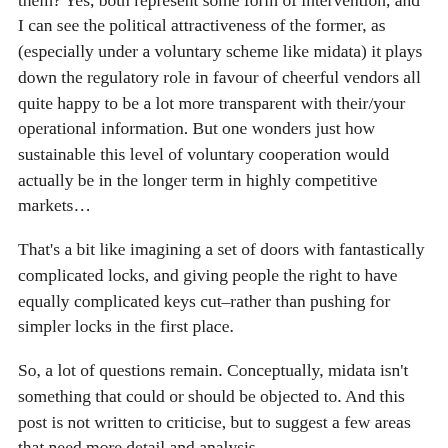another look at the issue of tariffs in general, and simplify them? Yes, both represent some form of intervention, and I can see the political attractiveness of the former, as (especially under a voluntary scheme like midata) it plays down the regulatory role in favour of cheerful vendors all quite happy to be a lot more transparent with their/your operational information. But one wonders just how sustainable this level of voluntary cooperation would actually be in the longer term in highly competitive markets…
That's a bit like imagining a set of doors with fantastically complicated locks, and giving people the right to have equally complicated keys cut–rather than pushing for simpler locks in the first place.
So, a lot of questions remain. Conceptually, midata isn't something that could or should be objected to. And this post is not written to criticise, but to suggest a few areas that need more detail and analysis.
When we see press releases that let fly with cool talk of data, empowerment and choice we should be getting a lot more eager